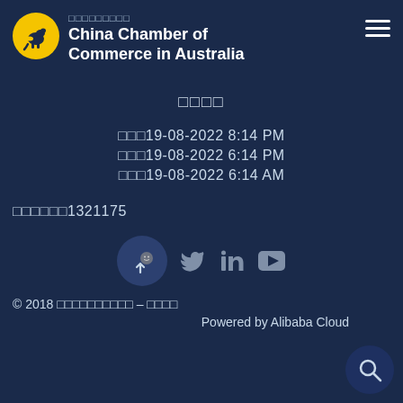[Figure (logo): China Chamber of Commerce in Australia logo: yellow circle with kangaroo silhouette, org name in Chinese and English]
□□□□
□□□19-08-2022 8:14 PM
□□□19-08-2022 6:14 PM
□□□19-08-2022 6:14 AM
□□□□□□1321175
[Figure (infographic): Social media icons: WeChat (circle with up arrow), Twitter bird, LinkedIn, YouTube]
© 2018 □□□□□□□□□□ – □□□□
Powered by Alibaba Cloud